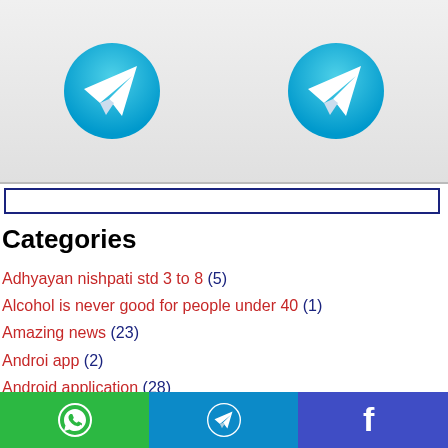[Figure (illustration): Two Telegram logo icons (blue circles with white paper plane) on a light grey rounded banner background]
Categories
Adhyayan nishpati std 3 to 8 (5)
Alcohol is never good for people under 40 (1)
Amazing news (23)
Androi app (2)
Android application (28)
Annual Exam (1)
App (87)
Application (79)
Apps (38)
Bal melo (1)
[Figure (illustration): Bottom share bar with WhatsApp (green), Telegram (blue), and Facebook (indigo) icons]